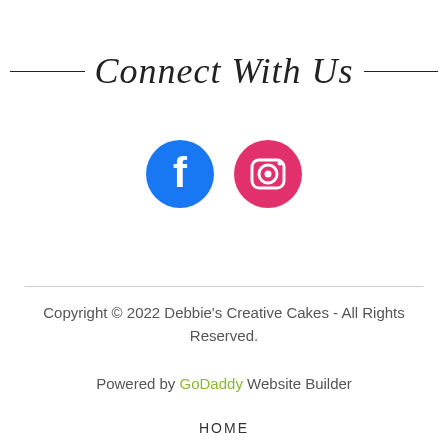Connect With Us
[Figure (illustration): Facebook and Instagram social media icons side by side. Facebook: blue circle with white 'f' logo. Instagram: pink/magenta circle with white camera icon.]
Copyright © 2022 Debbie's Creative Cakes - All Rights Reserved.
Powered by GoDaddy Website Builder
HOME